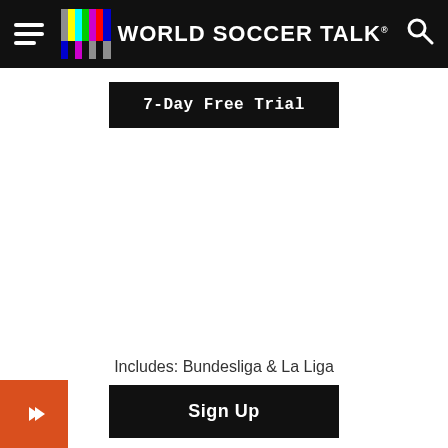World Soccer Talk
7-Day Free Trial
Includes: Bundesliga & La Liga
Sign Up